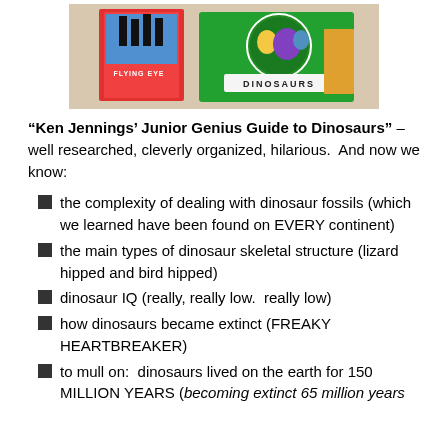[Figure (photo): Photo of children's book covers including 'Flying Eye' and 'Dinosaurs' books on a table]
“Ken Jennings’ Junior Genius Guide to Dinosaurs” – well researched, cleverly organized, hilarious.  And now we know:
the complexity of dealing with dinosaur fossils (which we learned have been found on EVERY continent)
the main types of dinosaur skeletal structure (lizard hipped and bird hipped)
dinosaur IQ (really, really low.  really low)
how dinosaurs became extinct (FREAKY HEARTBREAKER)
to mull on:  dinosaurs lived on the earth for 150 MILLION YEARS (becoming extinct 65 million years